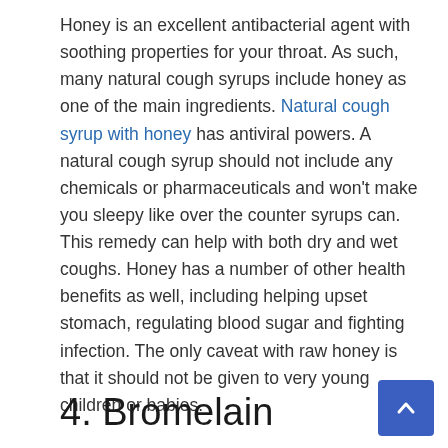Honey is an excellent antibacterial agent with soothing properties for your throat. As such, many natural cough syrups include honey as one of the main ingredients. Natural cough syrup with honey has antiviral powers. A natural cough syrup should not include any chemicals or pharmaceuticals and won't make you sleepy like over the counter syrups can. This remedy can help with both dry and wet coughs. Honey has a number of other health benefits as well, including helping upset stomach, regulating blood sugar and fighting infection. The only caveat with raw honey is that it should not be given to very young children or babies.
4. Bromelain